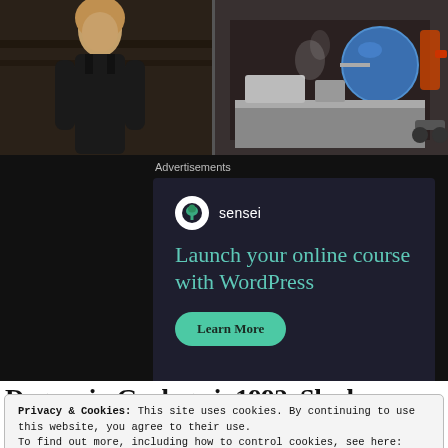[Figure (photo): Top banner showing two photos side by side: left shows a woman with curly hair in a black top in a lab setting; right shows blue lab equipment/machinery with steam or smoke.]
Advertisements
[Figure (infographic): Advertisement for Sensei plugin: dark navy background, Sensei logo (tree icon in white circle), text 'Launch your online course with WordPress' in teal, green 'Learn More' button.]
Privacy & Cookies: This site uses cookies. By continuing to use this website, you agree to their use.
To find out more, including how to control cookies, see here: Cookie Policy
Close and accept
Degree in Geology in1992. She has since